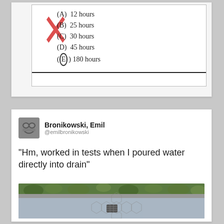[Figure (screenshot): Exam multiple choice question screenshot showing options: (A) 12 hours, (B) 25 hours, (C) 30 hours, (D) 45 hours, (E) 180 hours — with a large red X crossing out options A-D and a circle around (E) 180 hours. A horizontal line appears near the bottom.]
[Figure (screenshot): Twitter/social media post by Bronikowski, Emil (@emilbronikowski) with avatar photo. Tweet text: 'Hm, worked in tests when I poured water directly into drain'. Below the text is a photograph showing a flooded outdoor area with green plants/shrubs along a curb, and a square drain grate in the center of hexagonal paving stones covered with water.]